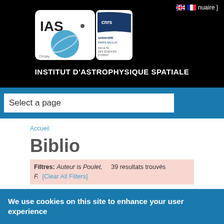[Figure (logo): IAS (Institut d'Astrophysique Spatiale) logo with CNRS and Université Paris-Saclay logos on black background]
[ annuaire ]
INSTITUT D'ASTROPHYSIQUE SPATIALE
Select a page
Accueil
Biblio
Filtres: Auteur is Poulet, F.  [Clear All Filters]  39 resultats trouvés
We use cookies on this site to enhance your user experience